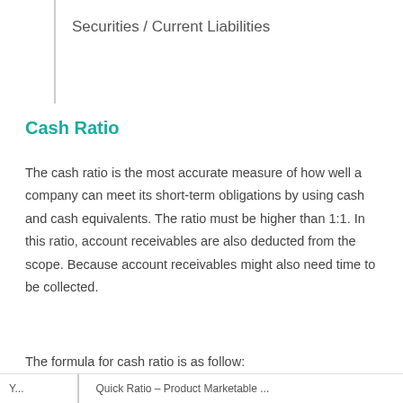Securities / Current Liabilities
Cash Ratio
The cash ratio is the most accurate measure of how well a company can meet its short-term obligations by using cash and cash equivalents. The ratio must be higher than 1:1. In this ratio, account receivables are also deducted from the scope. Because account receivables might also need time to be collected.
The formula for cash ratio is as follow:
Your ... Quick Ratio – Product Marketable ...